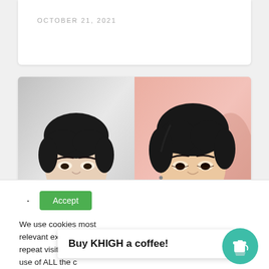OCTOBER 21, 2021
[Figure (photo): Two male K-pop/Asian celebrity photos side by side: left photo has gray/white background, right photo has pink background]
Accept
We use cookies on our website to give you the most relevant experie nce ence repeat visits. By at t use of ALL the c
Buy KHIGH a coffee!